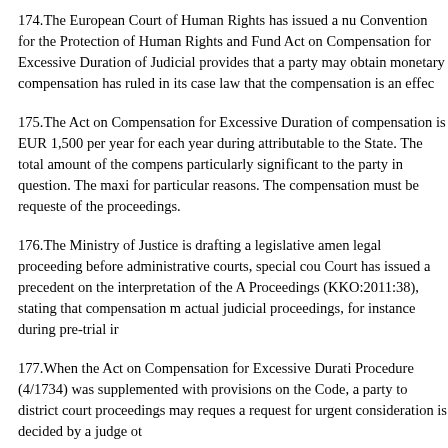174.The European Court of Human Rights has issued a nu Convention for the Protection of Human Rights and Fund Act on Compensation for Excessive Duration of Judicial provides that a party may obtain monetary compensation has ruled in its case law that the compensation is an effec
175.The Act on Compensation for Excessive Duration of compensation is EUR 1,500 per year for each year during attributable to the State. The total amount of the compens particularly significant to the party in question. The maxi for particular reasons. The compensation must be requeste of the proceedings.
176.The Ministry of Justice is drafting a legislative amen legal proceeding before administrative courts, special cou Court has issued a precedent on the interpretation of the A Proceedings (KKO:2011:38), stating that compensation m actual judicial proceedings, for instance during pre-trial ir
177.When the Act on Compensation for Excessive Durati Procedure (4/1734) was supplemented with provisions on the Code, a party to district court proceedings may reques a request for urgent consideration is decided by a judge ot